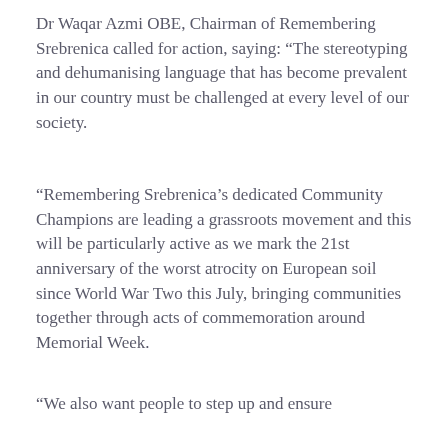Dr Waqar Azmi OBE, Chairman of Remembering Srebrenica called for action, saying: “The stereotyping and dehumanising language that has become prevalent in our country must be challenged at every level of our society.
“Remembering Srebrenica’s dedicated Community Champions are leading a grassroots movement and this will be particularly active as we mark the 21st anniversary of the worst atrocity on European soil since World War Two this July, bringing communities together through acts of commemoration around Memorial Week.
“We also want people to step up and ensure